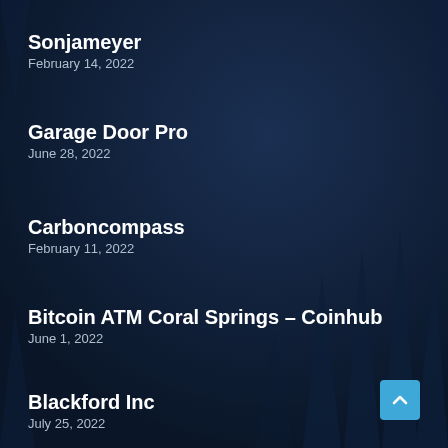[Figure (illustration): Dark navy blue background with silhouettes of pine/fir trees visible in the lower portion and edges, creating a wintry night scene]
Sonjameyer
February 14, 2022
Garage Door Pro
June 28, 2022
Carboncompass
February 11, 2022
Bitcoin ATM Coral Springs – Coinhub
June 1, 2022
Blackford Inc
July 25, 2022